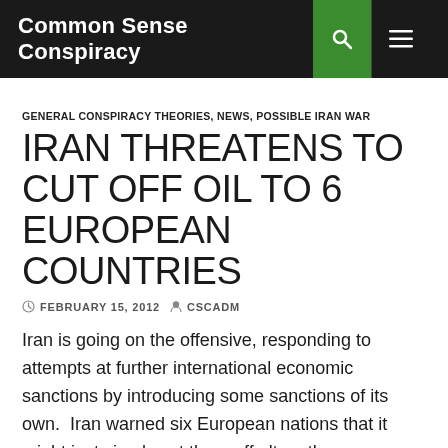Common Sense Conspiracy
GENERAL CONSPIRACY THEORIES, NEWS, POSSIBLE IRAN WAR
IRAN THREATENS TO CUT OFF OIL TO 6 EUROPEAN COUNTRIES
FEBRUARY 15, 2012   CSCADM
Iran is going on the offensive, responding to attempts at further international economic sanctions by introducing some sanctions of its own. Iran warned six European nations that it might just simply cut them off altogether, a move that would severely affect the price of oil worldwide. The threat was made separately to Italy, Spain, France, the Netherlands, Greece and Portugal, each in a separate meeting between the country's